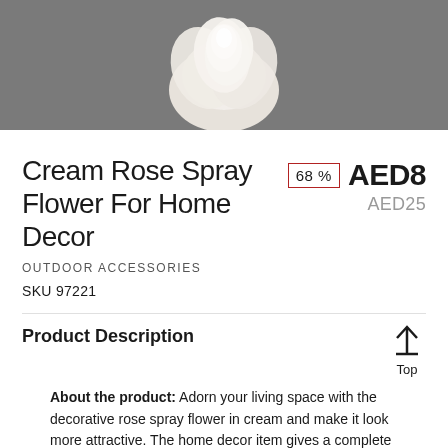[Figure (photo): Cream rose spray flower on a grey background, partially visible at top of page]
Cream Rose Spray Flower For Home Decor
68 %  AED8  AED25
OUTDOOR ACCESSORIES
SKU 97221
Product Description
About the product: Adorn your living space with the decorative rose spray flower in cream and make it look more attractive. The home decor item gives a complete change to the ambience making it more interesting. Simple yet sophisticated, this classic spray